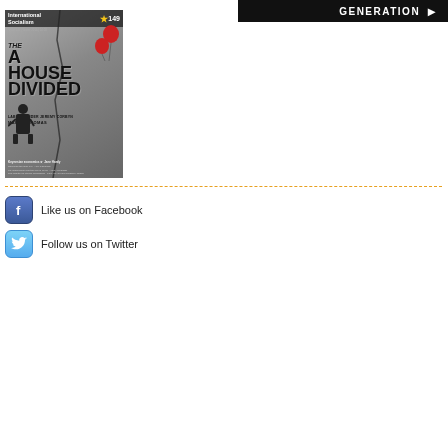[Figure (illustration): Black banner in top right corner with text 'GENERATION' and a right arrow in white bold uppercase letters on black background]
[Figure (illustration): Magazine cover of 'International Socialism' issue 149, with title 'A HOUSE DIVIDED: LABOUR UNDER JEREMY CORBYN' by Mark L Thomas. Cover shows graffiti-like text on concrete wall with red heart-shaped balloons and a figure. Also features Keynesian economics by Jane Hardy and other contributors.]
Like us on Facebook
Follow us on Twitter